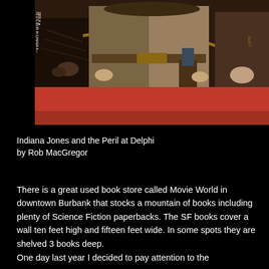[Figure (illustration): Book cover illustration showing Indiana Jones figures in action pose with whip and weapons, on a red background. A yellow banner across the lower portion reads 'by ROB MacGREGOR' in stylized text. Price text on spine: 'IN U.S. $3.95 IN CANADA 4—']
Indiana Jones and the Peril at Delphi
by Rob MacGregor
There is a great used book store called Movie World in downtown Burbank that stocks a mountain of books including plenty of Science Fiction paperbacks. The SF books cover a wall ten feet high and fifteen feet wide. In some spots they are shelved 3 books deep.
One day last year I decided to pay attention to the